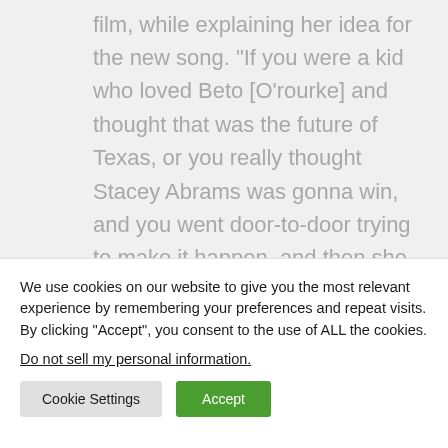film, while explaining her idea for the new song. “If you were a kid who loved Beto [O’rourke] and thought that was the future of Texas, or you really thought Stacey Abrams was gonna win, and you went door-to-door trying to make it happen, and then she still gets beat.”

Swift is clearly thinking about the millions of young people who will listen to the song, soon
We use cookies on our website to give you the most relevant experience by remembering your preferences and repeat visits. By clicking “Accept”, you consent to the use of ALL the cookies.
Do not sell my personal information.
Cookie Settings
Accept